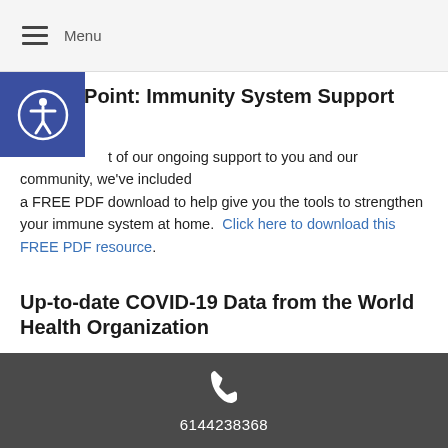≡ Menu
To the Point: Immunity System Support PDF
As part of our ongoing support to you and our community, we've included a FREE PDF download to help give you the tools to strengthen your immune system at home. Click here to download this FREE PDF resource.
Up-to-date COVID-19 Data from the World Health Organization
For the current number of cases worldwide, the World Health Organization maintains a COVID-19 Situation Report worldwide. Click here.
As acupuncturists and practitioners of Traditional Chinese Medicine, we
6144238368